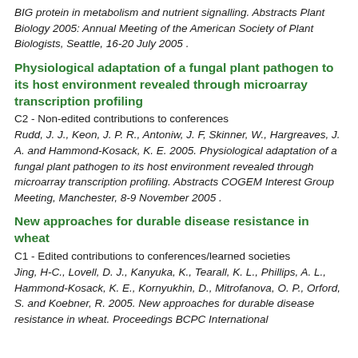BIG protein in metabolism and nutrient signalling. Abstracts Plant Biology 2005: Annual Meeting of the American Society of Plant Biologists, Seattle, 16-20 July 2005 .
Physiological adaptation of a fungal plant pathogen to its host environment revealed through microarray transcription profiling
C2 - Non-edited contributions to conferences
Rudd, J. J., Keon, J. P. R., Antoniw, J. F, Skinner, W., Hargreaves, J. A. and Hammond-Kosack, K. E. 2005. Physiological adaptation of a fungal plant pathogen to its host environment revealed through microarray transcription profiling. Abstracts COGEM Interest Group Meeting, Manchester, 8-9 November 2005 .
New approaches for durable disease resistance in wheat
C1 - Edited contributions to conferences/learned societies
Jing, H-C., Lovell, D. J., Kanyuka, K., Tearall, K. L., Phillips, A. L., Hammond-Kosack, K. E., Kornyukhin, D., Mitrofanova, O. P., Orford, S. and Koebner, R. 2005. New approaches for durable disease resistance in wheat. Proceedings BCPC International